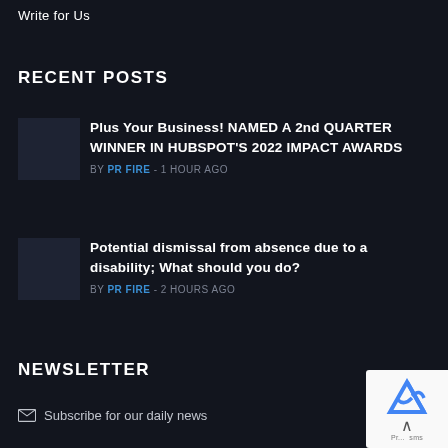Write for Us
RECENT POSTS
Plus Your Business! NAMED A 2nd QUARTER WINNER IN HUBSPOT'S 2022 IMPACT AWARDS — BY PR FIRE - 1 HOUR AGO
Potential dismissal from absence due to a disability; What should you do? — BY PR FIRE - 2 HOURS AGO
NEWSLETTER
Subscribe for our daily news